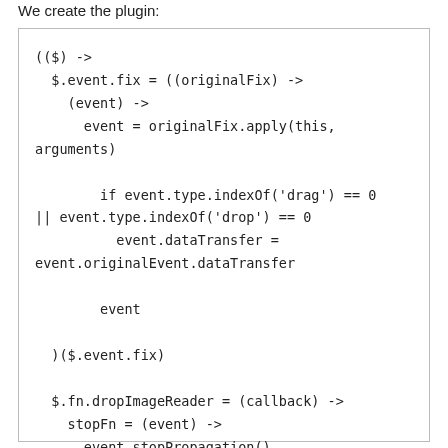We create the plugin:
[Figure (screenshot): Code block showing CoffeeScript plugin code with (($) -> function, $.event.fix override, drag/drop type checking, event.dataTransfer assignment, and $.fn.dropImageReader definition]